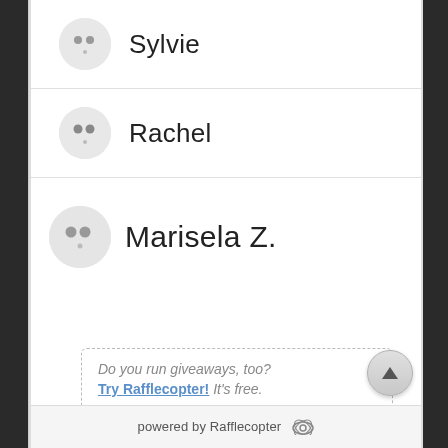Sylvie
Rachel
Marisela Z.
Do you run giveaways, too? Try Rafflecopter! It's free.
powered by Rafflecopter